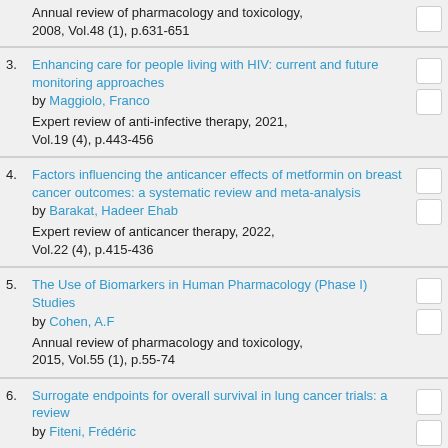Annual review of pharmacology and toxicology, 2008, Vol.48 (1), p.631-651
3. Enhancing care for people living with HIV: current and future monitoring approaches by Maggiolo, Franco. Expert review of anti-infective therapy, 2021, Vol.19 (4), p.443-456
4. Factors influencing the anticancer effects of metformin on breast cancer outcomes: a systematic review and meta-analysis by Barakat, Hadeer Ehab. Expert review of anticancer therapy, 2022, Vol.22 (4), p.415-436
5. The Use of Biomarkers in Human Pharmacology (Phase I) Studies by Cohen, A.F. Annual review of pharmacology and toxicology, 2015, Vol.55 (1), p.55-74
6. Surrogate endpoints for overall survival in lung cancer trials: a review by Fiteni, Frédéric